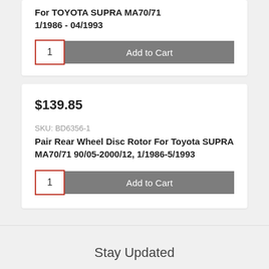For TOYOTA SUPRA MA70/71 1/1986 - 04/1993
1  Add to Cart
$139.85
SKU: BD6356-1
Pair Rear Wheel Disc Rotor For Toyota SUPRA MA70/71 90/05-2000/12, 1/1986-5/1993
1  Add to Cart
Stay Updated